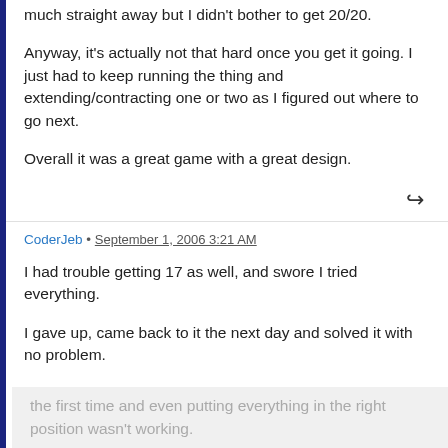much straight away but I didn't bother to get 20/20.
Anyway, it's actually not that hard once you get it going. I just had to keep running the thing and extending/contracting one or two as I figured out where to go next.
Overall it was a great game with a great design.
CoderJeb • September 1, 2006 3:21 AM
I had trouble getting 17 as well, and swore I tried everything.
I gave up, came back to it the next day and solved it with no problem.
I still wonder if somehow something was wrong the first time and even putting everything in the right position wasn't working.